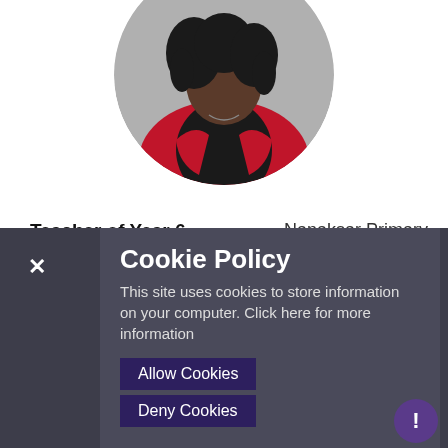[Figure (photo): Circular profile photo of a woman with dreadlocks wearing a black top and red jacket, cropped at the top of the page]
Teacher of Year 6    Nanaksar Primary School
"I feel I have really been able to  developed my teaching over three years I have been here"
Cookie Policy
This site uses cookies to store information on your computer. Click here for more information
Allow Cookies
Deny Cookies